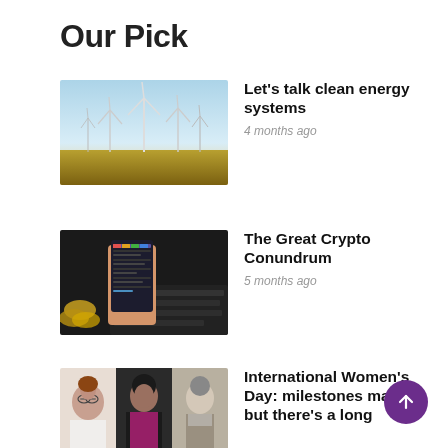Our Pick
[Figure (photo): Wind turbines in a field at golden hour]
Let's talk clean energy systems
4 months ago
[Figure (photo): Person holding a smartphone with a crypto app, laptop and coins in background]
The Great Crypto Conundrum
5 months ago
[Figure (photo): Three women: one with glasses in white jacket, one in black suit with pink top, one historical black and white portrait]
International Women's Day: milestones matter but there's a long